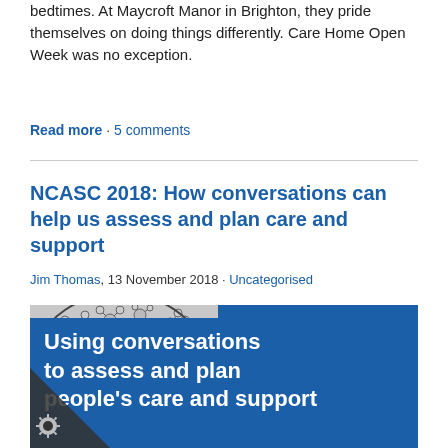bedtimes. At Maycroft Manor in Brighton, they pride themselves on doing things differently. Care Home Open Week was no exception.
Read more · 5 comments
NCASC 2018: How conversations can help us assess and plan care and support
Jim Thomas, 13 November 2018 · Uncategorised
[Figure (photo): Image for article about NCASC 2018 conversations to assess and plan people's care and support. Shows a network/dandelion illustration on gray background with Skills for Care logo in blue box top right, and a blue banner at bottom reading 'Using conversations to assess and plan people's care and support'.]